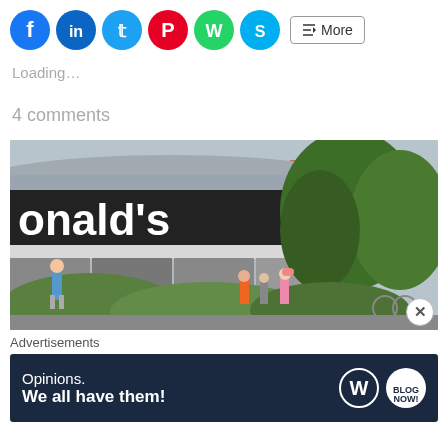[Figure (screenshot): Social media sharing buttons: Facebook (blue circle), LinkedIn (blue circle), Twitter (blue circle), Pinterest (red circle), WhatsApp (green circle), Skype (blue circle), and a More button]
Loading…
4 comments
[Figure (photo): Exterior photo of a McDonald's restaurant with a dark sign reading 'onald's', people walking in front of green bushes, trees on the right side]
Advertisements
[Figure (infographic): Advertisement banner with dark navy background reading 'Opinions. We all have them!' with WordPress and another circular logo on the right]